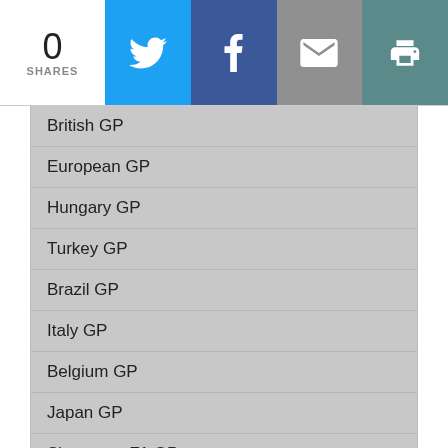0 SHARES
British GP
European GP
Hungary GP
Turkey GP
Brazil GP
Italy GP
Belgium GP
Japan GP
Singapore F1 GP
Abu Dhabi GP
Korean GP
FIA Formula2
FIA F3 Championship
F3 Championships
Formula 4
ABB FIA Formula E
FIA WEC